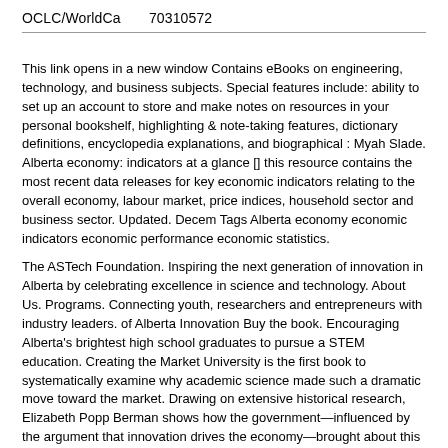OCLC/WorldCa    70310572
This link opens in a new window Contains eBooks on engineering, technology, and business subjects. Special features include: ability to set up an account to store and make notes on resources in your personal bookshelf, highlighting & note-taking features, dictionary definitions, encyclopedia explanations, and biographical : Myah Slade. Alberta economy: indicators at a glance [] this resource contains the most recent data releases for key economic indicators relating to the overall economy, labour market, price indices, household sector and business sector. Updated. Decem Tags Alberta economy economic indicators economic performance economic statistics.
The ASTech Foundation. Inspiring the next generation of innovation in Alberta by celebrating excellence in science and technology. About Us. Programs. Connecting youth, researchers and entrepreneurs with industry leaders. of Alberta Innovation Buy the book. Encouraging Alberta's brightest high school graduates to pursue a STEM education. Creating the Market University is the first book to systematically examine why academic science made such a dramatic move toward the market. Drawing on extensive historical research, Elizabeth Popp Berman shows how the government—influenced by the argument that innovation drives the economy—brought about this transformation.
In July the Government of Alberta released a "White Paper" entitled, Proposals for an Industrial and Science Strategy for Albertans to The document the government has released is designed to stimulate...